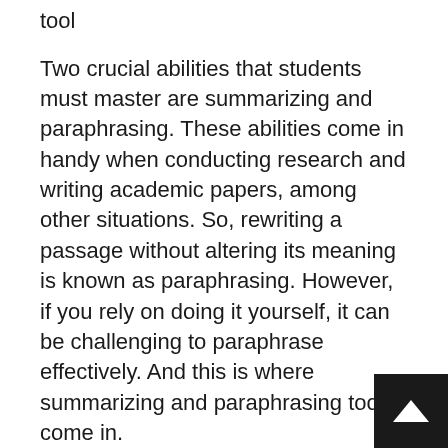tool
Two crucial abilities that students must master are summarizing and paraphrasing. These abilities come in handy when conducting research and writing academic papers, among other situations. So, rewriting a passage without altering its meaning is known as paraphrasing. However, if you rely on doing it yourself, it can be challenging to paraphrase effectively. And this is where summarizing and paraphrasing tools come in.
To rewrite or rework a sentence without losing its meaning, utilize a paraphrasing tool. These tools rewrite any kind of text in order to avoid plagiarism and to create a unique text. Moreover, to produce an alternative version of the original work, this tool substitutes various words and phrases. In addition, you may use this technique to write more interesting content in your own voice and to use your knowledg